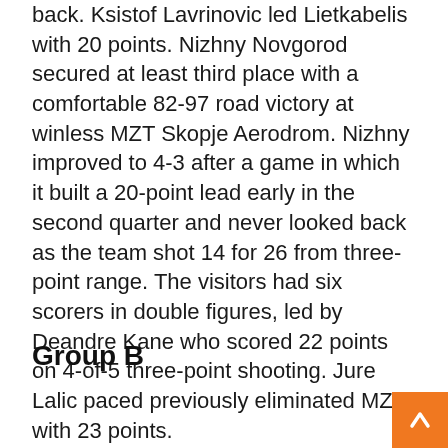back. Ksistof Lavrinovic led Lietkabelis with 20 points. Nizhny Novgorod secured at least third place with a comfortable 82-97 road victory at winless MZT Skopje Aerodrom. Nizhny improved to 4-3 after a game in which it built a 20-point lead early in the second quarter and never looked back as the team shot 14 for 26 from three-point range. The visitors had six scorers in double figures, led by Deandre Kane who scored 22 points on 4-of-5 three-point shooting. Jure Lalic paced previously eliminated MZT with 23 points.
Group B